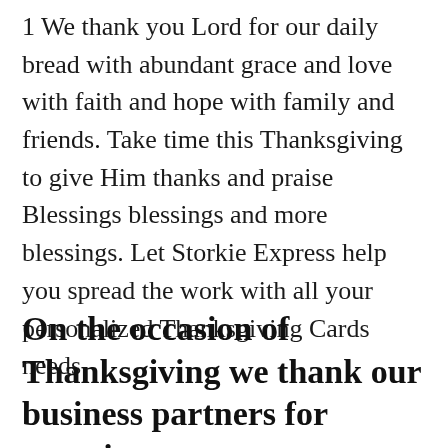1 We thank you Lord for our daily bread with abundant grace and love with faith and hope with family and friends. Take time this Thanksgiving to give Him thanks and praise Blessings blessings and more blessings. Let Storkie Express help you spread the work with all your personalized Thanksgiving Cards needs.
On the occasion of Thanksgiving we thank our business partners for exposing